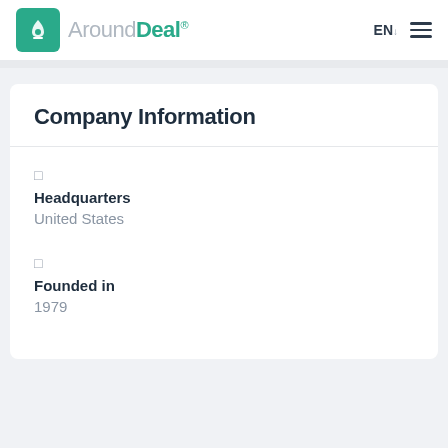AroundDeal® EN ☰
Company Information
Headquarters
United States
Founded in
1979